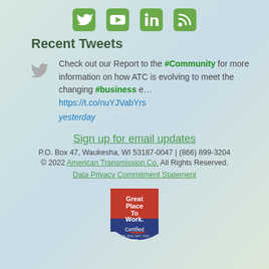[Figure (illustration): Row of four green social media icons: Twitter bird, YouTube play button, LinkedIn logo, and blog/RSS icon]
Recent Tweets
Check out our Report to the #Community for more information on how ATC is evolving to meet the changing #business e… https://t.co/nuYJVabYrs
yesterday
Sign up for email updates
P.O. Box 47, Waukesha, WI 53187-0047 | (866) 899-3204
© 2022 American Transmission Co. All Rights Reserved.
Data Privacy Commitment Statement
[Figure (logo): Great Place To Work Certified badge (red and blue shield shape), MAY 2022–MAY 2023, USA]